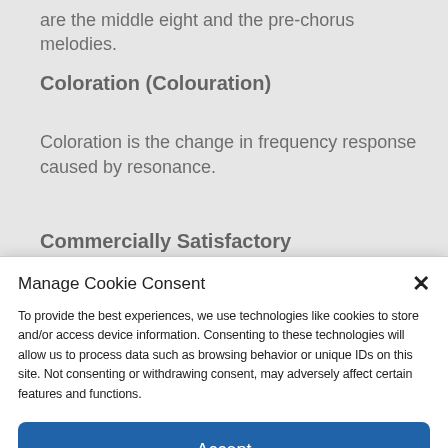are the middle eight and the pre-chorus melodies.
Coloration (Colouration)
Coloration is the change in frequency response caused by resonance.
Commercially Satisfactory
Manage Cookie Consent
To provide the best experiences, we use technologies like cookies to store and/or access device information. Consenting to these technologies will allow us to process data such as browsing behavior or unique IDs on this site. Not consenting or withdrawing consent, may adversely affect certain features and functions.
Accept
Cookie Policy   Privacy Policy